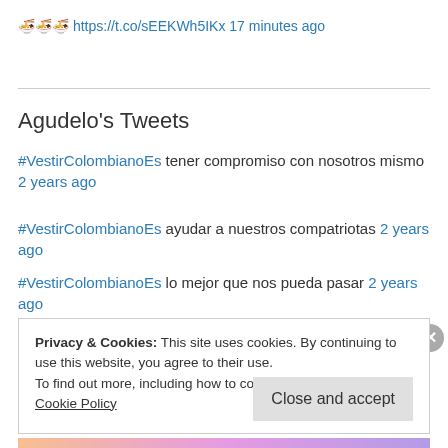🍜🍜🍜 https://t.co/sEEKWh5IKx 17 minutes ago
Agudelo's Tweets
#VestirColombianoEs tener compromiso con nosotros mismo 2 years ago
#VestirColombianoEs ayudar a nuestros compatriotas 2 years ago
#VestirColombianoEs lo mejor que nos pueda pasar 2 years ago
Privacy & Cookies: This site uses cookies. By continuing to use this website, you agree to their use. To find out more, including how to control cookies, see here: Cookie Policy
Close and accept